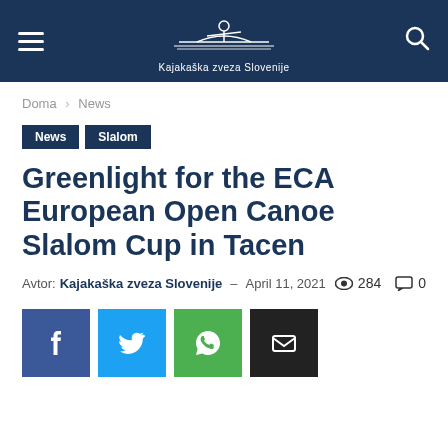Kajakaška zveza Slovenije
Doma › News
News
Slalom
Greenlight for the ECA European Open Canoe Slalom Cup in Tacen
Avtor: Kajakaška zveza Slovenije – April 11, 2021  284  0
[Figure (other): Social share buttons: Facebook (f), Twitter (bird), WhatsApp (phone/message), Email (envelope)]